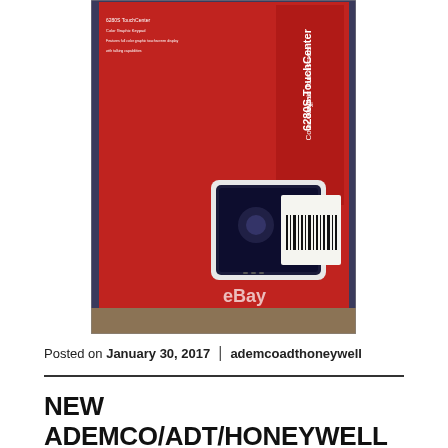[Figure (photo): Photo of the back of a red product box for the Ademco/ADT/Honeywell 6280S TouchCenter Color Graphic Keypad Touchscreen, sitting on a carpeted floor. The box shows product text, a product image, and a barcode. An eBay watermark is visible at the bottom.]
Posted on January 30, 2017  |  ademcoadthoneywell
NEW ADEMCO/ADT/HONEYWELL 6280s Talking Color Graphic